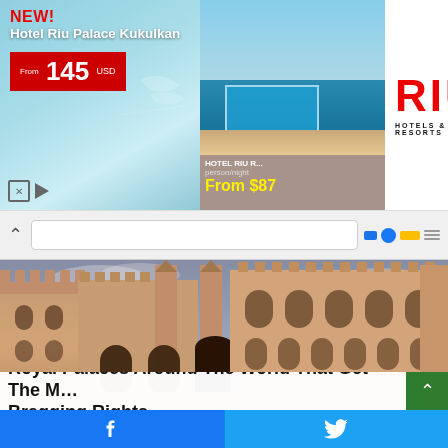[Figure (screenshot): RIU Hotels advertisement banner with Hotel Riu Palace Kukulkan offer from 145 USD, pool resort image with From $87 per night offer, and RIU Hotels & Resorts logo]
[Figure (screenshot): Browser navigation bar with back arrow and address bar]
[Figure (photo): Photograph of a large medieval royal palace/castle with Gothic towers, arches, and battlements in warm sandy stone color under a partly cloudy sky]
Royal Palaces Around The World That Get The M... Bragging Rights
[Figure (screenshot): Social sharing buttons: Facebook (blue) and Twitter (light blue)]